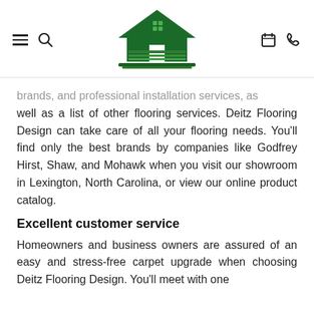[Figure (logo): Deitz Flooring Design logo with green house icon and cursive/serif text]
brands, and professional installation services, as well as a list of other flooring services. Deitz Flooring Design can take care of all your flooring needs. You'll find only the best brands by companies like Godfrey Hirst, Shaw, and Mohawk when you visit our showroom in Lexington, North Carolina, or view our online product catalog.
Excellent customer service
Homeowners and business owners are assured of an easy and stress-free carpet upgrade when choosing Deitz Flooring Design. You'll meet with one